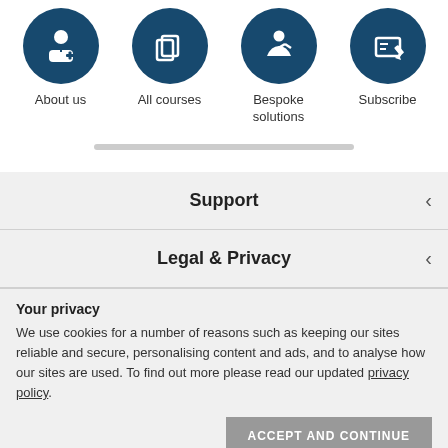[Figure (illustration): Four dark blue circular icons in a row: About us (person with tool), All courses (document/squares), Bespoke solutions (person at desk), Subscribe (document with pencil)]
About us
All courses
Bespoke solutions
Subscribe
Support
Legal & Privacy
Your privacy
We use cookies for a number of reasons such as keeping our sites reliable and secure, personalising content and ads, and to analyse how our sites are used. To find out more please read our updated privacy policy.
ACCEPT AND CONTINUE